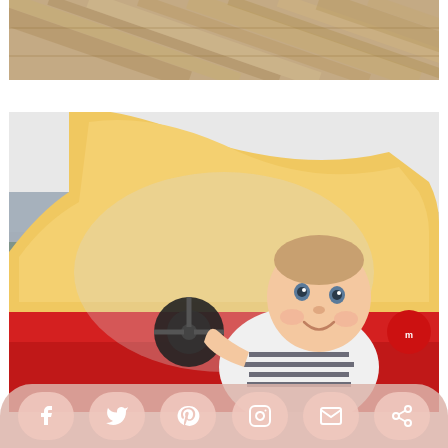[Figure (photo): Top portion of a photo showing wood plank flooring texture in warm brown tones, diagonal planks visible]
[Figure (photo): Baby/infant sitting inside a Little Tikes red and yellow Cozy Coupe toy car, holding the steering wheel, smiling at camera, wearing a navy striped outfit, white room background]
[Figure (infographic): Social media sharing bar at bottom with icons for Facebook, Twitter, Pinterest, Instagram, Email, and Share/more options, on a pinkish-beige rounded pill background]